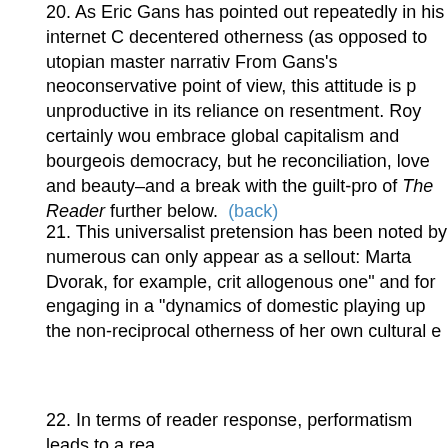20. As Eric Gans has pointed out repeatedly in his internet C... decentered otherness (as opposed to utopian master narrativ... From Gans's neoconservative point of view, this attitude is p... unproductive in its reliance on resentment. Roy certainly wou... embrace global capitalism and bourgeois democracy, but he... reconciliation, love and beauty–and a break with the guilt-pr... of The Reader further below. (back)
21. This universalist pretension has been noted by numerous... can only appear as a sellout: Marta Dvorak, for example, crit... allogenous one" and for engaging in a "dynamics of domesti... playing up the non-reciprocal otherness of her own cultural e...
22. In terms of reader response, performatism leads to a rea...